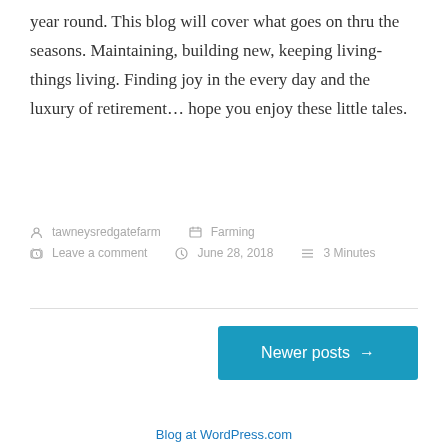year round. This blog will cover what goes on thru the seasons. Maintaining, building new, keeping living-things living. Finding joy in the every day and the luxury of retirement… hope you enjoy these little tales.
tawneysredgatefarm   Farming   Leave a comment   June 28, 2018   3 Minutes
Newer posts →
Blog at WordPress.com